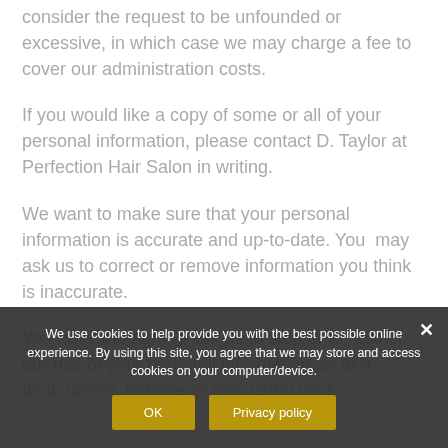consider the request to be unfounded or excessive, in which case we may charge a fee to cover our administration costs.
If you would like a copy of some or all of your personal information, please contact D. Taylor at Perfection Hair Salon in writing.
We want to make sure that your personal information is accurate and up-to-date. You may ask us to correct or remove information you think is inaccurate.
You have the right to ask us to stop or to restrict our use of your personal information, or to ask us to delete, remove or stop using your
We use cookies to help provide you with the best possible online experience. By using this site, you agree that we may store and access cookies on your computer/device.